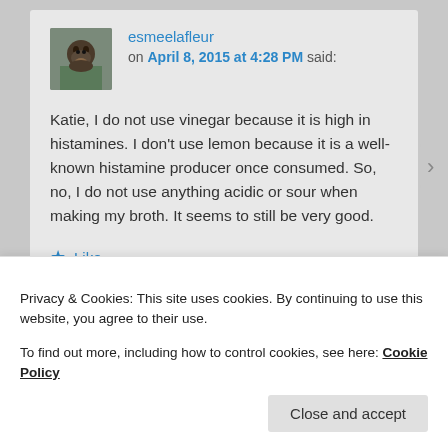esmeelafleur on April 8, 2015 at 4:28 PM said: Katie, I do not use vinegar because it is high in histamines. I don't use lemon because it is a well-known histamine producer once consumed. So, no, I do not use anything acidic or sour when making my broth. It seems to still be very good.
Privacy & Cookies: This site uses cookies. By continuing to use this website, you agree to their use. To find out more, including how to control cookies, see here: Cookie Policy